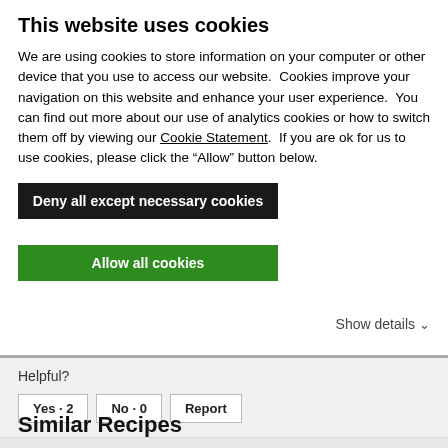This website uses cookies
We are using cookies to store information on your computer or other device that you use to access our website.  Cookies improve your navigation on this website and enhance your user experience.  You can find out more about our use of analytics cookies or how to switch them off by viewing our Cookie Statement.  If you are ok for us to use cookies, please click the “Allow” button below.
Deny all except necessary cookies
Allow all cookies
Show details ∨
Helpful?
Yes · 2
No · 0
Report
Load More
Similar Recipes